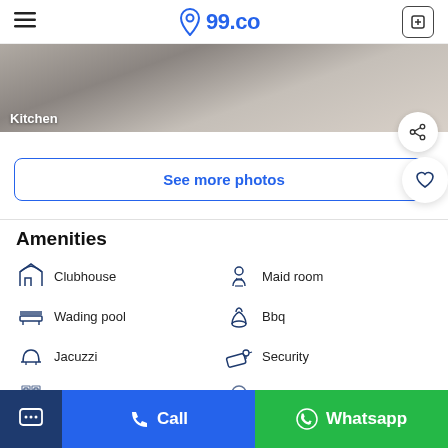99.co navigation header
[Figure (photo): Kitchen photo with dark countertop and sink, label 'Kitchen' in bottom left]
See more photos
Amenities
Clubhouse
Maid room
Wading pool
Bbq
Jacuzzi
Security
Gym
Parking
See more amenities
Chat | Call | Whatsapp